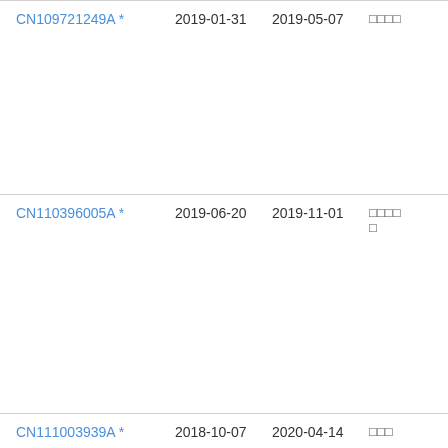| Patent Number | Filing Date | Publication Date | Status |
| --- | --- | --- | --- |
| CN109721249A * | 2019-01-31 | 2019-05-07 | □□□□ |
| CN110396005A * | 2019-06-20 | 2019-11-01 | □□□□□ |
| CN111003939A * | 2018-10-07 | 2020-04-14 | □□□ |